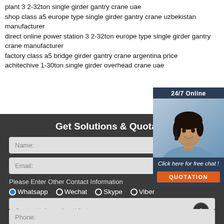plant 3 2-32ton single girder gantry crane uae
shop class a5 europe type single girder gantry crane uzbekistan manufacturer
direct online power station 3 2-32ton europe type single girder gantry crane manufacturer
factory class a5 bridge girder gantry crane argentina price
achitechive 1-30ton single girder overhead crane uae
Get Solutions & Quotatio
Name:
Email:
Please Enter Other Contact Information
Whatsapp  Wechat  Skype  Viber
Contact information Whatsapp
Phone:
[Figure (photo): Customer service representative with headset, 24/7 Online chat widget with QUOTATION button]